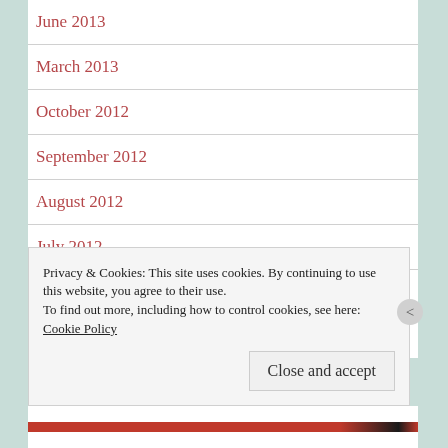June 2013
March 2013
October 2012
September 2012
August 2012
July 2012
December 2011
Privacy & Cookies: This site uses cookies. By continuing to use this website, you agree to their use. To find out more, including how to control cookies, see here: Cookie Policy
Close and accept